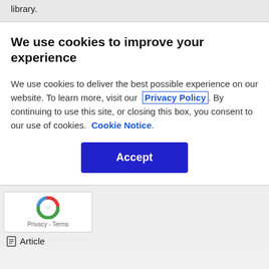library.
We use cookies to improve your experience
We use cookies to deliver the best possible experience on our website. To learn more, visit our Privacy Policy. By continuing to use this site, or closing this box, you consent to our use of cookies. Cookie Notice.
[Figure (other): Blue Accept button]
[Figure (other): reCAPTCHA logo with Privacy and Terms text]
Article